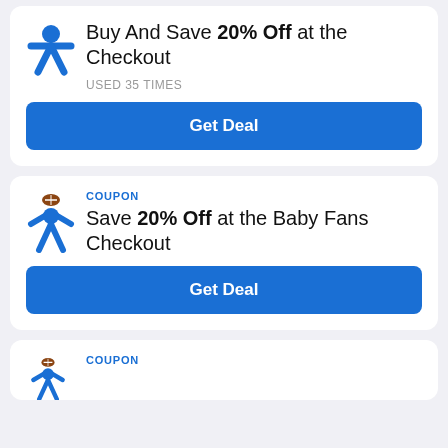Buy And Save 20% Off at the Checkout
USED 35 TIMES
Get Deal
COUPON
Save 20% Off at the Baby Fans Checkout
Get Deal
COUPON